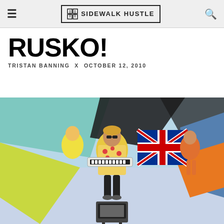≡  SIDEWALK HUSTLE  🔍
RUSKO!
TRISTAN BANNING  x  OCTOBER 12, 2010
[Figure (photo): Music video still showing a man in a colorful floral shirt holding a keytar, with a Union Jack flag visible behind him and a TV on the floor, set against a colorful abstract background.]